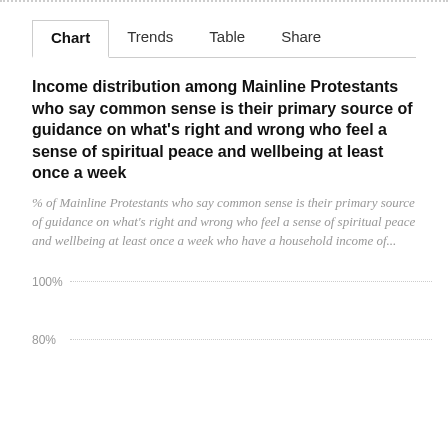Chart  Trends  Table  Share
Income distribution among Mainline Protestants who say common sense is their primary source of guidance on what's right and wrong who feel a sense of spiritual peace and wellbeing at least once a week
% of Mainline Protestants who say common sense is their primary source of guidance on what's right and wrong who feel a sense of spiritual peace and wellbeing at least once a week who have a household income of...
[Figure (continuous-plot): Partial bar chart visible with y-axis gridlines at 100% and 80%]